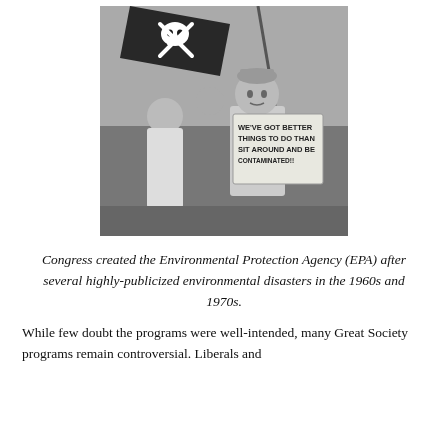[Figure (photo): Black and white photograph of children at an environmental protest. A child holds a sign reading 'WE'VE GOT BETTER THINGS TO DO THAN SIT AROUND AND BE CONTAMINATED!!' and another person waves a flag with a skull and crossbones.]
Congress created the Environmental Protection Agency (EPA) after several highly-publicized environmental disasters in the 1960s and 1970s.
While few doubt the programs were well-intended, many Great Society programs remain controversial. Liberals and